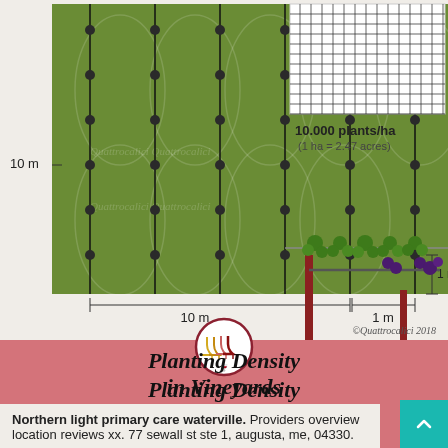[Figure (infographic): Vineyard planting density diagram showing a green field with rows of vines spaced 10m x 10m with 1m intervals, a grid showing 10,000 plants/ha, and a Guyot (Medoc) vine training illustration]
Planting Density in Vineyards
Quattrocalici
Conoscere il Vino
Northern light primary care waterville. Providers overview location reviews xx. 77 sewall st ste 1, augusta, me, 04330.